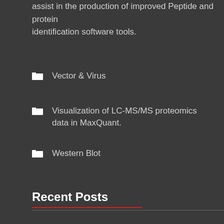assist in the production of improved Peptide and protein identification software tools.
Vector & Virus
Visualization of LC-MS/MS proteomics data in MaxQuant.
Western Blot
Recent Posts
Diagnostic Accuracy of an At-Home, Rapid Self-test for Influenza: Prospective Comparative Accuracy Study
Mechanical Separation and Protein Solubilization of the Outer and Inner Perivitelline Sublayers from Hen's Eggs
The standard protein mix database: a diverse data set to assist in the production of improved Peptide and protein